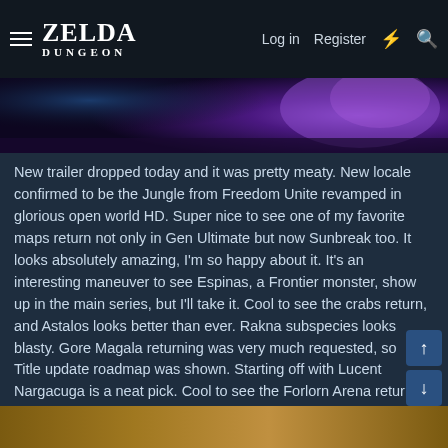ZELDA DUNGEON — Log in | Register
[Figure (screenshot): Purple/violet game screenshot showing a dark fantastical environment]
New trailer dropped today and it was pretty meaty. New locale confirmed to be the Jungle from Freedom Unite revamped in glorious open world HD. Super nice to see one of my favorite maps return not only in Gen Ultimate but now Sunbreak too. It looks absolutely amazing, I'm so happy about it. It's an interesting maneuver to see Espinas, a Frontier monster, show up in the main series, but I'll take it. Cool to see the crabs return, and Astalos looks better than ever. Rakna subspecies looks blasty. Gore Magala returning was very much requested, so that's cool, too.
Title update roadmap was shown. Starting off with Lucent Nargacuga is a neat pick. Cool to see the Forlorn Arena return, but man, I wish they'd just give us the entire Tower map it was based on. That whole tower in the background was its own map back in FU and I miss it very much.